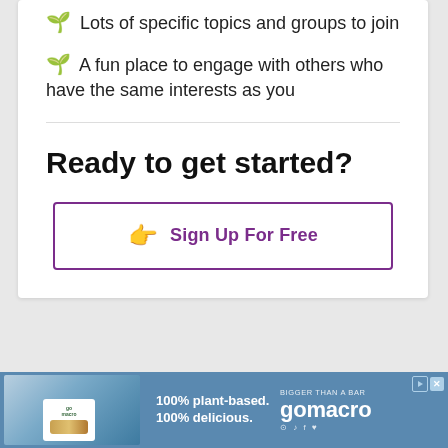🌱 Lots of specific topics and groups to join
🌱 A fun place to engage with others who have the same interests as you
Ready to get started?
👉 Sign Up For Free
[Figure (photo): GoMacro advertisement banner: 100% plant-based. 100% delicious. BIGGER THAN A BAR gomacro]